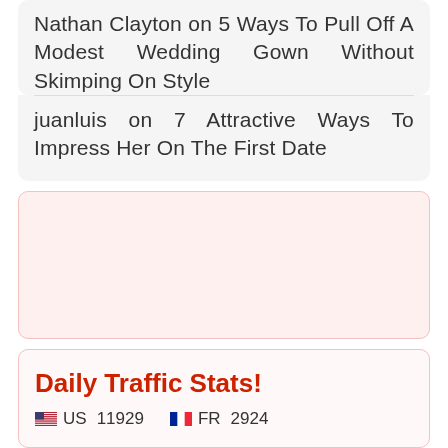Nathan Clayton on 5 Ways To Pull Off A Modest Wedding Gown Without Skimping On Style
juanluis on 7 Attractive Ways To Impress Her On The First Date
[Figure (other): Empty pinkish box, possibly an advertisement placeholder]
Daily Traffic Stats!
US 11929   FR 2924